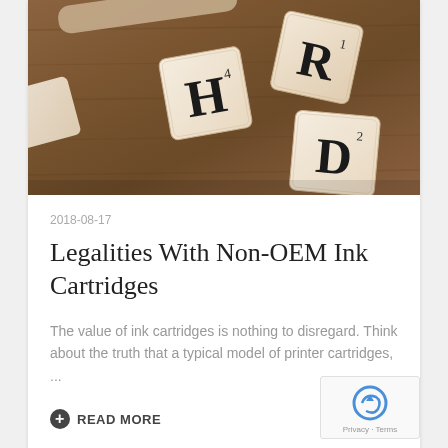[Figure (photo): Scrabble letter tiles (H, R, D) scattered on a wooden surface, viewed from above]
2018-08-17
Legalities With Non-OEM Ink Cartridges
The value of ink cartridges is nothing to disregard. Think about the truth that a typical model of printer cartridges, ...
READ MORE